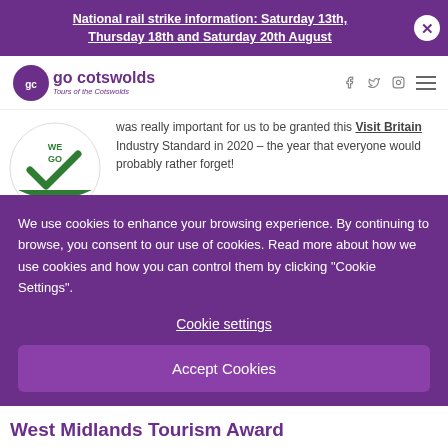National rail strike information: Saturday 13th, Thursday 18th and Saturday 20th August
[Figure (logo): Go Cotswolds - Tours of the Cotswolds logo with social media icons (Facebook, Twitter, Instagram) and hamburger menu]
was really important for us to be granted this Visit Britain Industry Standard in 2020 – the year that everyone would probably rather forget!
We use cookies to enhance your browsing experience. By continuing to browse, you consent to our use of cookies. Read more about how we use cookies and how you can control them by clicking "Cookie Settings".
Cookie settings
Accept Cookies
West Midlands Tourism Award